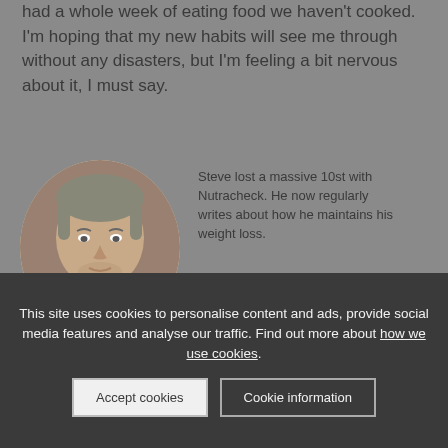had a whole week of eating food we haven't cooked. I'm hoping that my new habits will see me through without any disasters, but I'm feeling a bit nervous about it, I must say.
[Figure (photo): Circular portrait photo of a middle-aged man with short hair and a beard, on a beige/tan background.]
Steve lost a massive 10st with Nutracheck. He now regularly writes about how he maintains his weight loss.
This site uses cookies to personalise content and ads, provide social media features and analyse our traffic. Find out more about how we use cookies.
Accept cookies
Cookie information